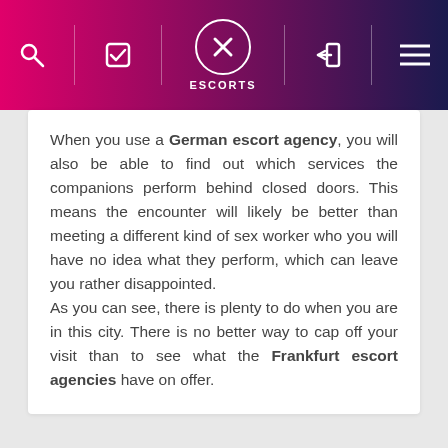ESCORTS
When you use a German escort agency, you will also be able to find out which services the companions perform behind closed doors. This means the encounter will likely be better than meeting a different kind of sex worker who you will have no idea what they perform, which can leave you rather disappointed.
As you can see, there is plenty to do when you are in this city. There is no better way to cap off your visit than to see what the Frankfurt escort agencies have on offer.